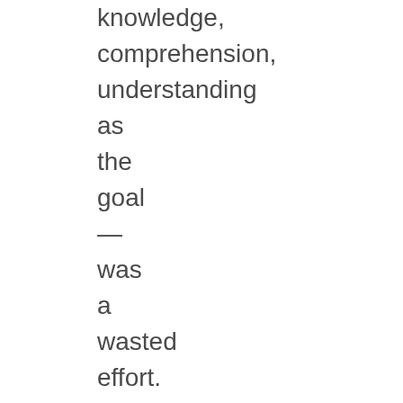knowledge, comprehension, understanding as the goal — was a wasted effort. Far more valuable to me was the experience of pondering the atonement, both while I studied